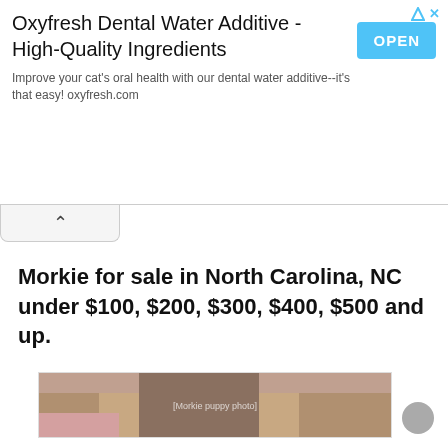[Figure (screenshot): Advertisement banner for Oxyfresh Dental Water Additive with title, description text, and OPEN button]
Oxyfresh Dental Water Additive - High-Quality Ingredients
Improve your cat's oral health with our dental water additive--it's that easy! oxyfresh.com
^
Morkie for sale in North Carolina, NC under $100, $200, $300, $400, $500 and up.
[Figure (photo): A tiny Morkie puppy sitting next to a can of Hunt's Manwich sauce, on a green carpeted surface with holiday decorations, being held by a person's hands.]